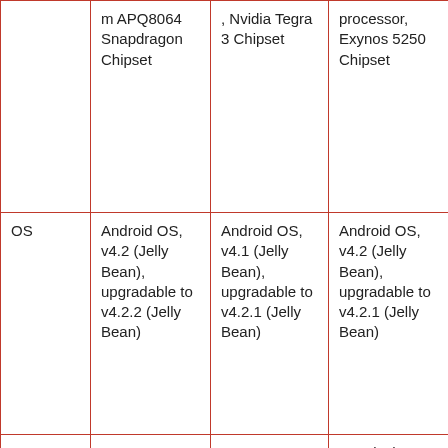|  | m APQ8064 Snapdragon Chipset | , Nvidia Tegra 3 Chipset | processor, Exynos 5250 Chipset |
| OS | Android OS, v4.2 (Jelly Bean), upgradable to v4.2.2 (Jelly Bean) | Android OS, v4.1 (Jelly Bean), upgradable to v4.2.1 (Jelly Bean) | Android OS, v4.2 (Jelly Bean), upgradable to v4.2.1 (Jelly Bean) |
|  |  |  | 10.1-inch Super PLS... |